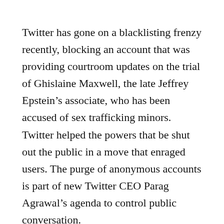Twitter has gone on a blacklisting frenzy recently, blocking an account that was providing courtroom updates on the trial of Ghislaine Maxwell, the late Jeffrey Epstein’s associate, who has been accused of sex trafficking minors. Twitter helped the powers that be shut out the public in a move that enraged users. The purge of anonymous accounts is part of new Twitter CEO Parag Agrawal’s agenda to control public conversation.
Another account Twitter nixed was a clever investment portfolio tracker that traced investments